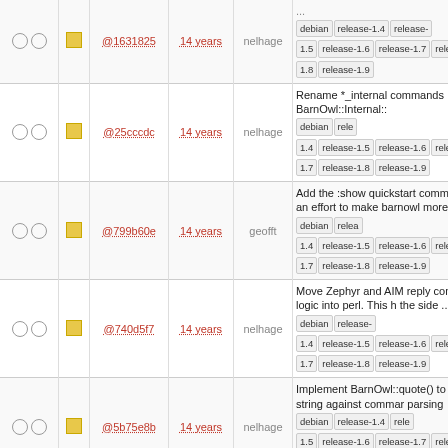|  |  | hash | age | author | description |
| --- | --- | --- | --- | --- | --- |
|  |  | @1631825 | 14 years | nelhage | ... debian release-1.4 release-1.5 release-1.6 release-1.7 release-1.8 release-1.9 |
|  |  | @25cccdc | 14 years | nelhage | Rename *_internal commands BarnOwl::Internal:: debian release-1.4 release-1.5 release-1.6 release-1.7 release-1.8 release-1.9 |
|  |  | @799b60e | 14 years | geofft | Add the :show quickstart command. In an effort to make barnowl more ... debian release-1.4 release-1.5 release-1.6 release-1.7 release-1.8 release-1.9 |
|  |  | @740d5f7 | 14 years | nelhage | Move Zephyr and AIM reply command logic into perl. This h the side ... debian release-1.4 release-1.5 release-1.6 release-1.7 release-1.8 release-1.9 |
|  |  | @5b75e8b | 14 years | nelhage | Implement BarnOwl::quote() to quote a string against command parsing debian release-1.4 release-1.5 release-1.6 release-1.7 release-1.8 release-1.9 |
|  |  | @67cf4f9 | 14 years | nelhage | Make owl_function_reply call methods to get the replycmd. R ... debian release-1.4 release-1.5 release-1.6 release-1.7 release-1.8 release-1.9 |
|  |  | @167044b | 14 years | nelhage | Support string hook entries. perlwrap.pm: Support calling a adding ... debian release-1.4 release-1.5 release-1.6 release-1.7 release-1.8 release-1.9 |
|  |  |  |  |  | Add a hook, newMessage, tha |